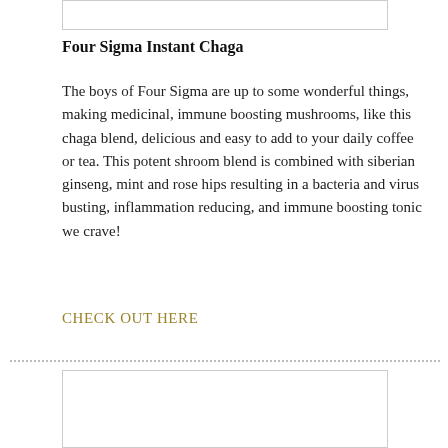[Figure (other): Top image placeholder box (partially visible at top of page)]
Four Sigma Instant Chaga
The boys of Four Sigma are up to some wonderful things, making medicinal, immune boosting mushrooms, like this chaga blend, delicious and easy to add to your daily coffee or tea. This potent shroom blend is combined with siberian ginseng, mint and rose hips resulting in a bacteria and virus busting, inflammation reducing, and immune boosting tonic we crave!
CHECK OUT HERE
[Figure (other): Bottom image placeholder box (partially visible at bottom of page)]